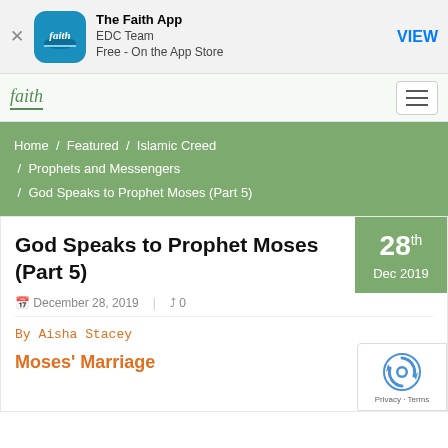[Figure (screenshot): App Store banner for The Faith App by EDC Team, Free on the App Store, with a VIEW button]
The Faith App | EDC Team | Free - On the App Store | VIEW
[Figure (logo): Faith website navigation bar with faith logo and hamburger menu]
Home / Featured / Islamic Creed / Prophets and Messengers / God Speaks to Prophet Moses (Part 5)
God Speaks to Prophet Moses (Part 5)
28th Dec 2019
December 28, 2019 | 0
By Aisha Stacey
Moses' Marriage